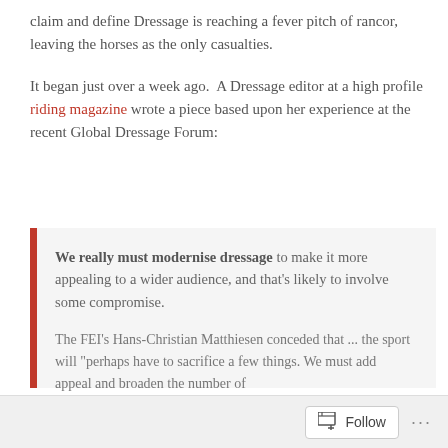claim and define Dressage is reaching a fever pitch of rancor, leaving the horses as the only casualties.
It began just over a week ago.  A Dressage editor at a high profile riding magazine wrote a piece based upon her experience at the recent Global Dressage Forum:
We really must modernise dressage to make it more appealing to a wider audience, and that's likely to involve some compromise.

The FEI's Hans-Christian Matthiesen conceded that ... the sport will "perhaps have to sacrifice a few things. We must add appeal and broaden the number of
Follow ···